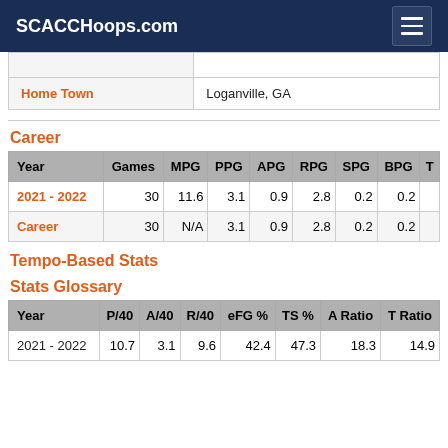SCACCHoops.com
| Home Town |  |
| --- | --- |
| Home Town | Loganville, GA |
Career
| Year | Games | MPG | PPG | APG | RPG | SPG | BPG | T... |
| --- | --- | --- | --- | --- | --- | --- | --- | --- |
| 2021 - 2022 | 30 | 11.6 | 3.1 | 0.9 | 2.8 | 0.2 | 0.2 |  |
| Career | 30 | N/A | 3.1 | 0.9 | 2.8 | 0.2 | 0.2 |  |
Tempo-Based Stats
Stats Glossary
| Year | P/40 | A/40 | R/40 | eFG % | TS % | A Ratio | T Ratio |
| --- | --- | --- | --- | --- | --- | --- | --- |
| 2021 - 2022 | 10.7 | 3.1 | 9.6 | 42.4 | 47.3 | 18.3 | 14.9 |